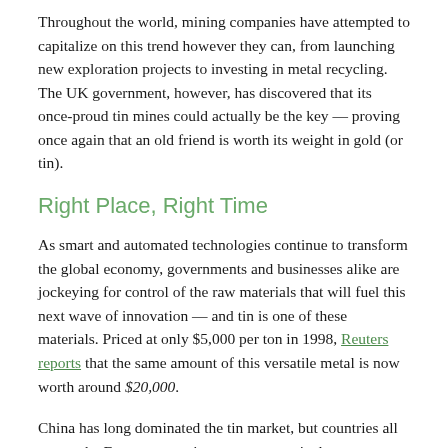Throughout the world, mining companies have attempted to capitalize on this trend however they can, from launching new exploration projects to investing in metal recycling. The UK government, however, has discovered that its once-proud tin mines could actually be the key — proving once again that an old friend is worth its weight in gold (or tin).
Right Place, Right Time
As smart and automated technologies continue to transform the global economy, governments and businesses alike are jockeying for control of the raw materials that will fuel this next wave of innovation — and tin is one of these materials. Priced at only $5,000 per ton in 1998, Reuters reports that the same amount of this versatile metal is now worth around $20,000.
China has long dominated the tin market, but countries all across the European continent are now actively